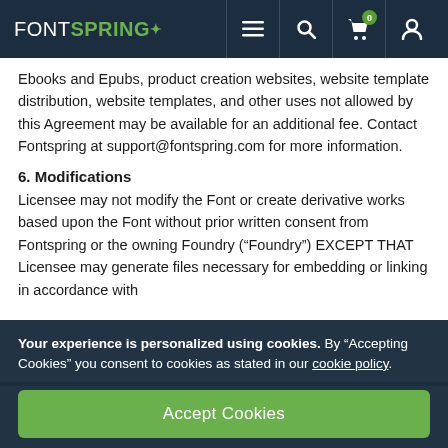FONTSPRING (navigation bar with menu, search, cart, and account icons)
Ebooks and Epubs, product creation websites, website template distribution, website templates, and other uses not allowed by this Agreement may be available for an additional fee. Contact Fontspring at support@fontspring.com for more information.
6. Modifications
Licensee may not modify the Font or create derivative works based upon the Font without prior written consent from Fontspring or the owning Foundry (“Foundry”) EXCEPT THAT Licensee may generate files necessary for embedding or linking in accordance with
Your experience is personalized using cookies. By “Accepting Cookies” you consent to cookies as stated in our cookie policy.
Accept Cookies